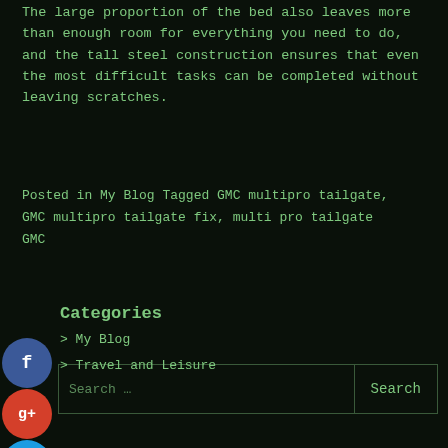The large proportion of the bed also leaves more than enough room for everything you need to do, and the tall steel construction ensures that even the most difficult tasks can be completed without leaving scratches.
Posted in My Blog Tagged GMC multipro tailgate, GMC multipro tailgate fix, multi pro tailgate GMC
[Figure (other): Social media share icons: Facebook (blue circle with f), Google+ (red circle with g+), Twitter (blue circle with bird), plus/share (blue circle with +)]
Search ...
Categories
> My Blog
> Travel and Leisure